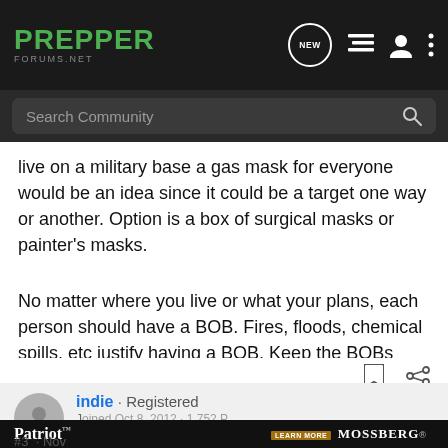[Figure (screenshot): Prepper Forums website navigation bar with logo, search bar, and icons]
live on a military base a gas mask for everyone would be an idea since it could be a target one way or another. Option is a box of surgical masks or painter's masks.
No matter where you live or what your plans, each person should have a BOB. Fires, floods, chemical spills, etc justify having a BOB. Keep the BOBs small & light altering them for season.
indie · Registered
#3 · Nov...
[Figure (screenshot): Patriot Vortex Scoped Combo advertisement banner for Mossberg rifles]